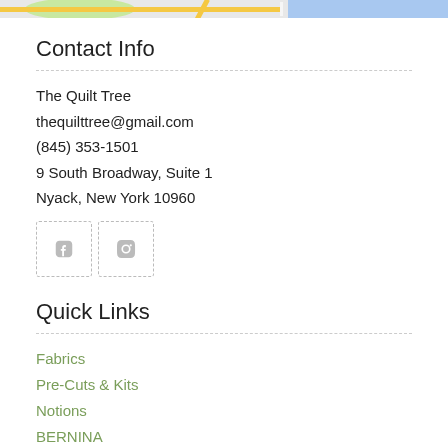[Figure (map): Top strip of a map showing roads, green area, yellow diagonal road, and blue water area]
Contact Info
The Quilt Tree
thequilttree@gmail.com
(845) 353-1501
9 South Broadway, Suite 1
Nyack, New York 10960
[Figure (illustration): Social media icons: Facebook (f) and Instagram camera icon, each in a dashed border box]
Quick Links
Fabrics
Pre-Cuts & Kits
Notions
BERNINA
Accuquilt
View All